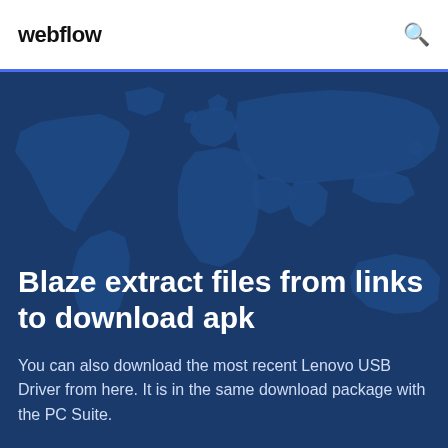webflow
[Figure (illustration): World map silhouette in dark blue tones used as hero background image]
Blaze extract files from links to download apk
You can also download the most recent Lenovo USB Driver from here. It is in the same download package with the PC Suite.